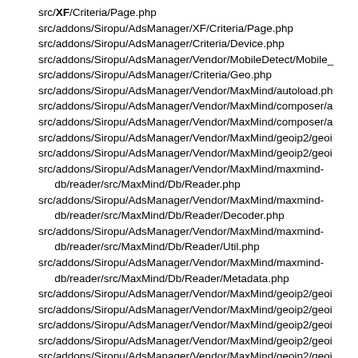180. src/XF/Criteria/Page.php
181. src/addons/Siropu/AdsManager/XF/Criteria/Page.php
182. src/addons/Siropu/AdsManager/Criteria/Device.php
183. src/addons/Siropu/AdsManager/Vendor/MobileDetect/Mobile_
184. src/addons/Siropu/AdsManager/Criteria/Geo.php
185. src/addons/Siropu/AdsManager/Vendor/MaxMind/autoload.ph
186. src/addons/Siropu/AdsManager/Vendor/MaxMind/composer/a
187. src/addons/Siropu/AdsManager/Vendor/MaxMind/composer/a
188. src/addons/Siropu/AdsManager/Vendor/MaxMind/geoip2/geoi
189. src/addons/Siropu/AdsManager/Vendor/MaxMind/geoip2/geoi
190. src/addons/Siropu/AdsManager/Vendor/MaxMind/maxmind-db/reader/src/MaxMind/Db/Reader.php
191. src/addons/Siropu/AdsManager/Vendor/MaxMind/maxmind-db/reader/src/MaxMind/Db/Reader/Decoder.php
192. src/addons/Siropu/AdsManager/Vendor/MaxMind/maxmind-db/reader/src/MaxMind/Db/Reader/Util.php
193. src/addons/Siropu/AdsManager/Vendor/MaxMind/maxmind-db/reader/src/MaxMind/Db/Reader/Metadata.php
194. src/addons/Siropu/AdsManager/Vendor/MaxMind/geoip2/geoi
195. src/addons/Siropu/AdsManager/Vendor/MaxMind/geoip2/geoi
196. src/addons/Siropu/AdsManager/Vendor/MaxMind/geoip2/geoi
197. src/addons/Siropu/AdsManager/Vendor/MaxMind/geoip2/geoi
198. src/addons/Siropu/AdsManager/Vendor/MaxMind/geoip2/geoi
199. src/addons/Siropu/AdsManager/Vendor/MaxMind/geoip2/geoi
200. src/addons/Siropu/AdsManager/Vendor/MaxMind/geoip2/geoi